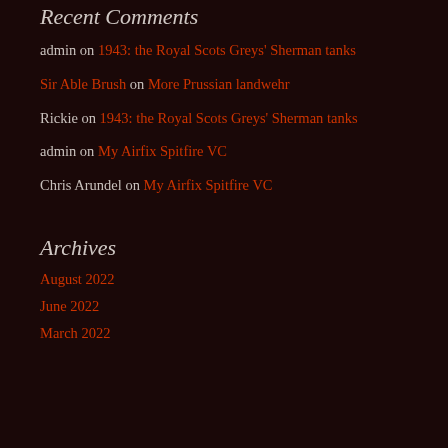Recent Comments
admin on 1943: the Royal Scots Greys' Sherman tanks
Sir Able Brush on More Prussian landwehr
Rickie on 1943: the Royal Scots Greys' Sherman tanks
admin on My Airfix Spitfire VC
Chris Arundel on My Airfix Spitfire VC
Archives
August 2022
June 2022
March 2022